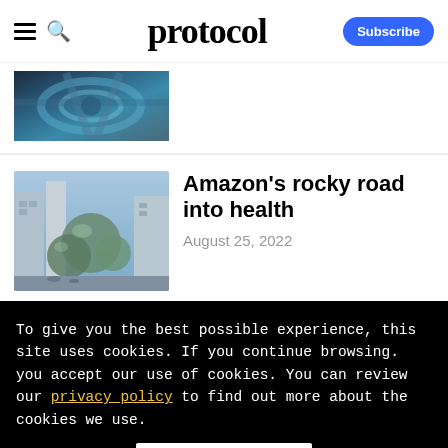protocol
[Figure (photo): Aerial view of highway interchange with blue/teal tones]
Amazon's rocky road into health
August 25, 2022
To give you the best possible experience, this site uses cookies. If you continue browsing. you accept our use of cookies. You can review our privacy policy to find out more about the cookies we use.
Accept